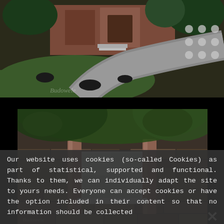[Figure (photo): Exterior driveway curving toward a stone building with red brick facade and wooden door, green lawn with shrubs, grey dot pattern overlay in top-right corner]
[Figure (photo): Close-up of a stone wall building with a modern white-framed window, green tree leaves overhanging, reflection visible in window]
Our website uses cookies (so-called Cookies) as part of statistical, supported and functional. Thanks to them, we can individually adapt the site to yours needs. Everyone can accept cookies or have the option included in their content so that no information should be collected